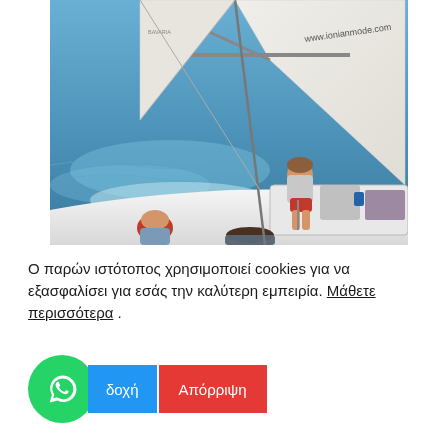[Figure (photo): Sailing boat on open blue sea with white sails visible, text 'www.ionianmode.com' on sail. A girl with brown hair sits at the cockpit wearing a life jacket and red shorts. Another person with red hair and a person in foreground are also visible on the boat deck.]
Ο παρών ιστότοπος χρησιμοποιεί cookies για να εξασφαλίσει για εσάς την καλύτερη εμπειρία. Μάθετε περισσότερα .